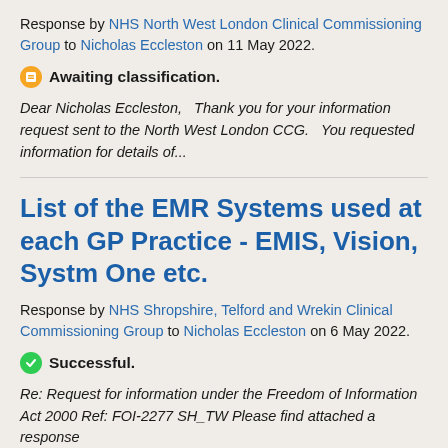Response by NHS North West London Clinical Commissioning Group to Nicholas Eccleston on 11 May 2022.
Awaiting classification.
Dear Nicholas Eccleston,   Thank you for your information request sent to the North West London CCG.   You requested information for details of...
List of the EMR Systems used at each GP Practice - EMIS, Vision, Systm One etc.
Response by NHS Shropshire, Telford and Wrekin Clinical Commissioning Group to Nicholas Eccleston on 6 May 2022.
Successful.
Re: Request for information under the Freedom of Information Act 2000 Ref: FOI-2277 SH_TW Please find attached a response